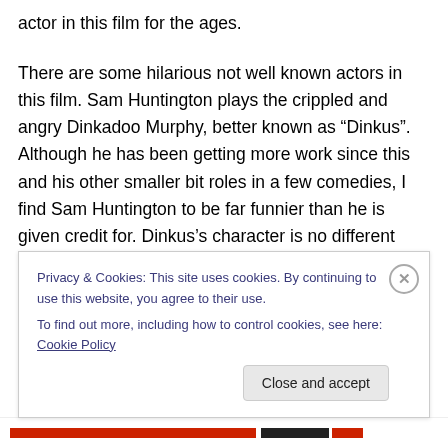actor in this film for the ages.
There are some hilarious not well known actors in this film. Sam Huntington plays the crippled and angry Dinkadoo Murphy, better known as “Dinkus”. Although he has been getting more work since this and his other smaller bit roles in a few comedies, I find Sam Huntington to be far funnier than he is given credit for. Dinkus’s character is no different with his hilarious outbursts and insult thrown at anyone who pisses off the boy in the wheelchair. Charlie Finn plays Kevin Haub, confused and slightly retarded
Privacy & Cookies: This site uses cookies. By continuing to use this website, you agree to their use.
To find out more, including how to control cookies, see here: Cookie Policy